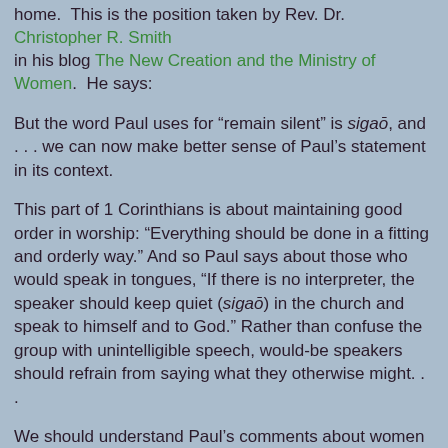home. This is the position taken by Rev. Dr. Christopher R. Smith in his blog The New Creation and the Ministry of Women. He says:
But the word Paul uses for “remain silent” is sigāō, and . . . we can now make better sense of Paul’s statement in its context.
This part of 1 Corinthians is about maintaining good order in worship: “Everything should be done in a fitting and orderly way.” And so Paul says about those who would speak in tongues, “If there is no interpreter, the speaker should keep quiet (sigāō) in the church and speak to himself and to God.” Rather than confuse the group with unintelligible speech, would-be speakers should refrain from saying what they otherwise might. . .
We should understand Paul’s comments about women speakers in this light. It’s not that Paul is calling for “silence,” the absence of speech or sound, but rather for propriety and good order. Apparently there is something the women in